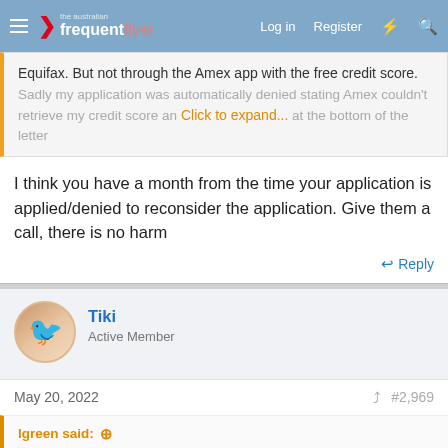the australian frequent flyer — Log in  Register
Equifax. But not through the Amex app with the free credit score.
Sadly my application was automatically denied stating Amex couldn't retrieve my credit score and... Click to expand... at the bottom of the letter
I think you have a month from the time your application is applied/denied to reconsider the application. Give them a call, there is no harm
Reply
Tiki
Active Member
May 20, 2022
#2,969
lgreen said:
Just call Amex Fraud team and say you have temporary moved for work (If your application says working income or Moving with family temporarily). Amex is the most accomodating of all. I recently changed